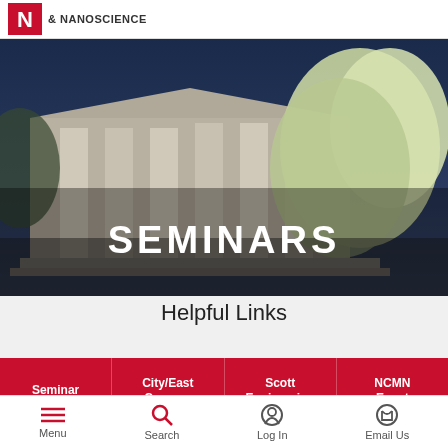& NANOSCIENCE
[Figure (photo): University building with classical columns and blooming trees, with text overlay 'SEMINARS']
Helpful Links
Seminar Policies
City/East Campus Maps
Scott Engineering Center Map
NCMN Event Calendar
Menu  Search  Log In  Email Us